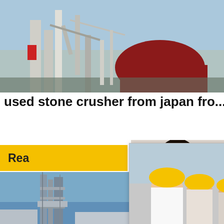[Figure (photo): Industrial cement plant / factory with silos, pipework, and red dome structure against blue sky]
used stone crusher from japan fro...
[Figure (photo): Live chat popup overlay showing workers in yellow hard hats, with LIVE CHAT heading, 'Click for a Free Consultation', Chat now and Chat later buttons]
[Figure (photo): Industrial plant/tower structure with scaffolding against blue sky]
[Figure (photo): Customer service agent (woman with headset, smiling) with 24Hrs Online label, Need questions & suggestion panel, Chat Now button, Enquiry link, limingjlmofen link]